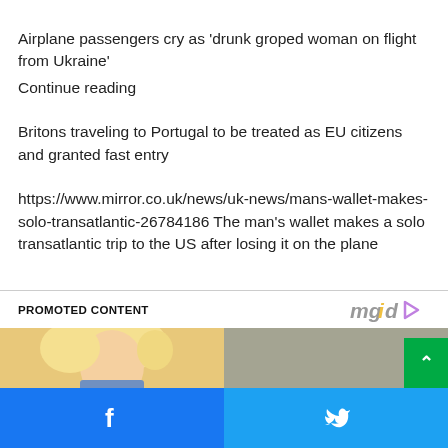Airplane passengers cry as 'drunk groped woman on flight from Ukraine'
Continue reading
Britons traveling to Portugal to be treated as EU citizens and granted fast entry
https://www.mirror.co.uk/news/uk-news/mans-wallet-makes-solo-transatlantic-26784186 The man's wallet makes a solo transatlantic trip to the US after losing it on the plane
PROMOTED CONTENT
[Figure (photo): Promotional content image showing a blonde woman looking down, split image with blurred background on right]
[Figure (logo): mgid logo with play button icon]
[Figure (other): Social sharing bar with Facebook and Twitter buttons at bottom of page]